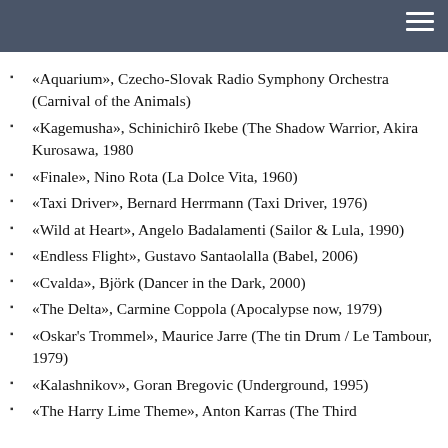«Aquarium», Czecho-Slovak Radio Symphony Orchestra (Carnival of the Animals)
«Kagemusha», Schinichirô Ikebe (The Shadow Warrior, Akira Kurosawa, 1980
«Finale», Nino Rota (La Dolce Vita, 1960)
«Taxi Driver», Bernard Herrmann (Taxi Driver, 1976)
«Wild at Heart», Angelo Badalamenti (Sailor & Lula, 1990)
«Endless Flight», Gustavo Santaolalla (Babel, 2006)
«Cvalda», Björk (Dancer in the Dark, 2000)
«The Delta», Carmine Coppola (Apocalypse now, 1979)
«Oskar's Trommel», Maurice Jarre (The tin Drum / Le Tambour, 1979)
«Kalashnikov», Goran Bregovic (Underground, 1995)
«The Harry Lime Theme», Anton Karras (The Third